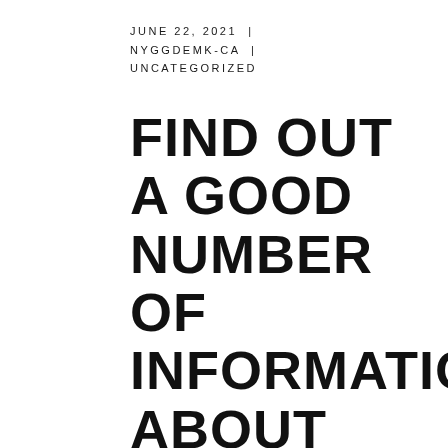JUNE 22, 2021  |  NYGGDEMK-CA  |  UNCATEGORIZED
FIND OUT A GOOD NUMBER OF INFORMATION ABOUT ONLINE CELL PHONE TEXAS HOLD'EM